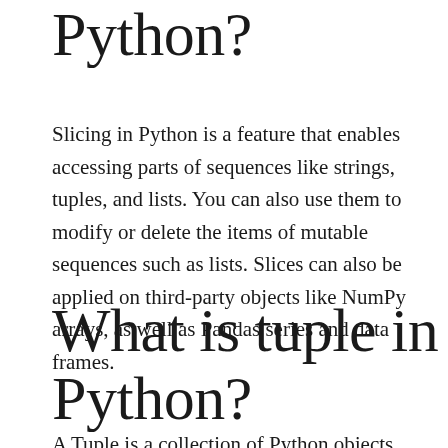Python?
Slicing in Python is a feature that enables accessing parts of sequences like strings, tuples, and lists. You can also use them to modify or delete the items of mutable sequences such as lists. Slices can also be applied on third-party objects like NumPy arrays, as well as Pandas series and data frames.
What is tuple in Python?
A Tuple is a collection of Python objects separated